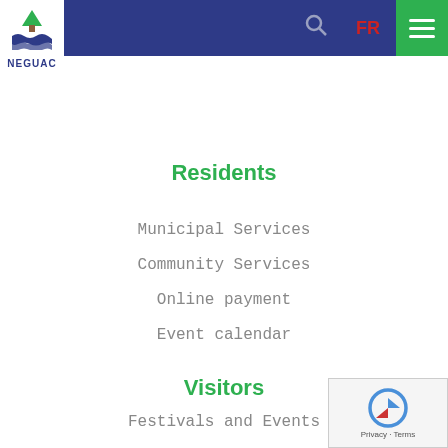NEGUAC — navigation header with logo, FR link, search, and menu
Residents
Municipal Services
Community Services
Online payment
Event calendar
Visitors
Festivals and Events
Visitor Information Center
Attractions
Restaurants